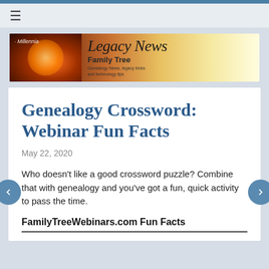[Figure (logo): Legacy News Family Tree banner with Millennia branding, showing a glowing orange/gold background with stylized cursive 'Legacy News' text and 'Family Tree' subtitle with tagline 'Genealogy News, Legacy tricks and technology tips']
Genealogy Crossword: Webinar Fun Facts
May 22, 2020
Who doesn't like a good crossword puzzle? Combine that with genealogy and you've got a fun, quick activity to pass the time.
FamilyTreeWebinars.com Fun Facts